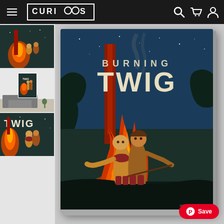CURIOOS navigation bar with hamburger menu, logo, search, cart, and account icons
[Figure (photo): Thumbnail 1: Burning Twig artwork showing campfire scene with dark background]
[Figure (photo): Thumbnail 2: Burning Twig poster shown in a room mockup with sofa]
[Figure (photo): Thumbnail 3: Burning Twig artwork closeup of campfire scene]
[Figure (illustration): Main canvas product image: 'Burning Twig' illustrated poster showing two stylized children standing near a geometric campfire against a dark teal night sky background. Bold text reads 'TWIG' at top.]
Save